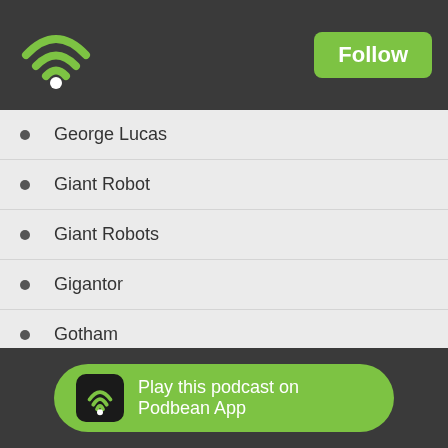[Figure (logo): Podbean wifi/podcast logo in green on dark header bar, with a green Follow button]
George Lucas
Giant Robot
Giant Robots
Gigantor
Gotham
Green Arrow
Green Lantern
Hamlet
Han Solo
Hank A…
[Figure (logo): Play this podcast on Podbean App button with green background and dark app icon showing wifi symbol]